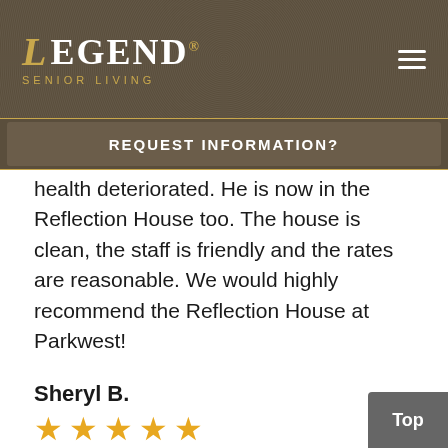LEGEND SENIOR LIVING
REQUEST INFORMATION?
health deteriorated. He is now in the Reflection House too. The house is clean, the staff is friendly and the rates are reasonable. We would highly recommend the Reflection House at Parkwest!
Sheryl B.
[Figure (other): Five gold star rating]
So far I think she's very happy. She's gone through a lot of changes, losing her husb and everything, but she seems to be happy